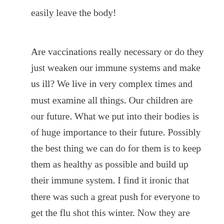easily leave the body!
Are vaccinations really necessary or do they just weaken our immune systems and make us ill? We live in very complex times and must examine all things. Our children are our future. What we put into their bodies is of huge importance to their future. Possibly the best thing we can do for them is to keep them as healthy as possible and build up their immune system. I find it ironic that there was such a great push for everyone to get the flu shot this winter. Now they are reporting that the flu shot, that they were just recommending so highly, does not protect against the current flu virus! As well, at the time of writing this article an announcement has just come out warning against